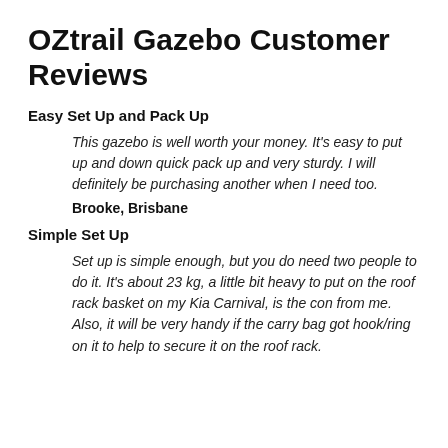OZtrail Gazebo Customer Reviews
Easy Set Up and Pack Up
This gazebo is well worth your money. It's easy to put up and down quick pack up and very sturdy. I will definitely be purchasing another when I need too.
Brooke, Brisbane
Simple Set Up
Set up is simple enough, but you do need two people to do it. It's about 23 kg, a little bit heavy to put on the roof rack basket on my Kia Carnival, is the con from me. Also, it will be very handy if the carry bag got hook/ring on it to help to secure it on the roof rack.